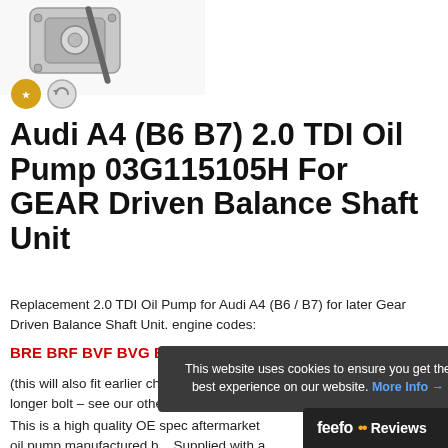[Figure (photo): Product photo of an oil pump component with a metal rod/bolt, shown against white background]
[Figure (logo): Two circular trust/certification badges - one gold colored, one gray with circular arrows]
Audi A4 (B6 B7) 2.0 TDI Oil Pump 03G115105H For GEAR Driven Balance Shaft Unit
Replacement 2.0 TDI Oil Pump for Audi A4 (B6 / B7) for later Gear Driven Balance Shaft Unit. engine codes:
BRE BRF BVF BVG BVA BRD BPW BRB BKE
(this will also fit earlier chain drive balance shaft units with addition of longer bolt – see our other listings or ask)
This is a high quality OE spec aftermarket oil pump manufactured b... Supplied with a 1... confidence –
This website uses cookies to ensure you get the best experience on our website. More Info →
[Figure (logo): Feefo Reviews logo bar at bottom]